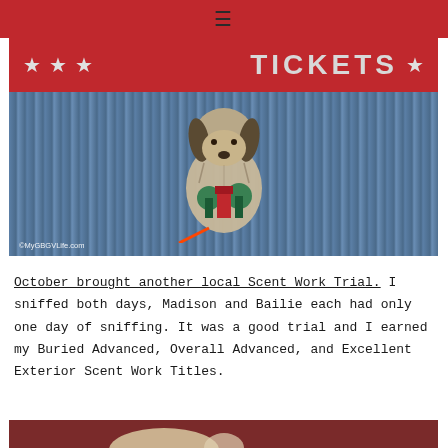≡
[Figure (photo): A fluffy long-haired dog (GBGV breed) sitting in front of a red 'TICKETS' banner with stars and a blue corrugated metal wall background, wearing green and red competition ribbons and a red leash. Watermark reads ©MyGBGVLife.com]
October brought another local Scent Work Trial. I sniffed both days, Madison and Bailie each had only one day of sniffing. It was a good trial and I earned my Buried Advanced, Overall Advanced, and Excellent Exterior Scent Work Titles.
[Figure (photo): Partial view of a dog photo, cropped at bottom of page]